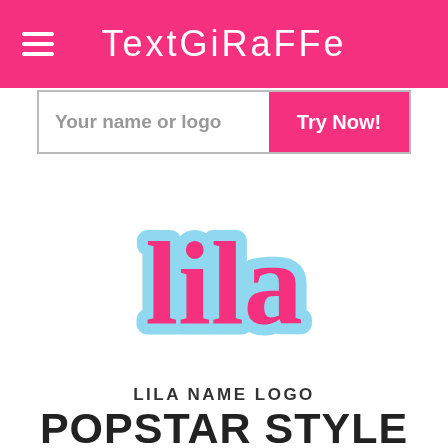TextGiraffe
Your name or logo
[Figure (logo): Lila name logo in popstar style - pink cursive text with light blue outline/shadow effect]
LILA NAME LOGO
POPSTAR STYLE
No design skills required. Large selection of Lila logos to choose from. Create amazing logos quick and easily.